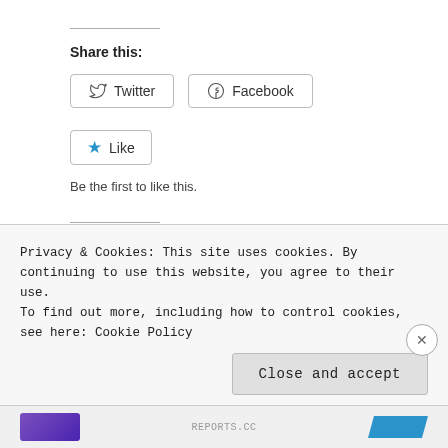Share this:
[Figure (screenshot): Twitter and Facebook share buttons]
[Figure (screenshot): Like button with star icon]
Be the first to like this.
Related
Don’t Mess With (The Kid From) Texas: Buchholz’ Delivery
In Case You Haven’t Been Keeping Up With Current Events
Privacy & Cookies: This site uses cookies. By continuing to use this website, you agree to their use. To find out more, including how to control cookies, see here: Cookie Policy
Close and accept